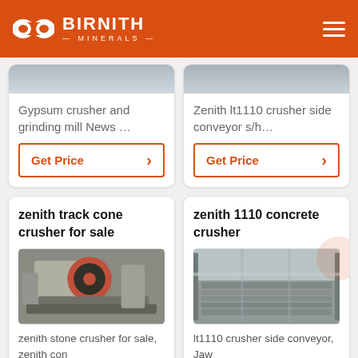BIRNITH MINERALS
Gypsum crusher and grinding mill News …
Get Price
Zenith lt1110 crusher side conveyor s/h…
Get Price
zenith track cone crusher for sale
[Figure (photo): Photo of a jaw/cone crusher machine, white and red colored, industrial equipment outdoors]
zenith stone crusher for sale, zenith con
zenith 1110 concrete crusher
[Figure (photo): Photo of a factory interior with industrial crushing/conveyor machinery in a large hall]
lt1110 crusher side conveyor, Jaw